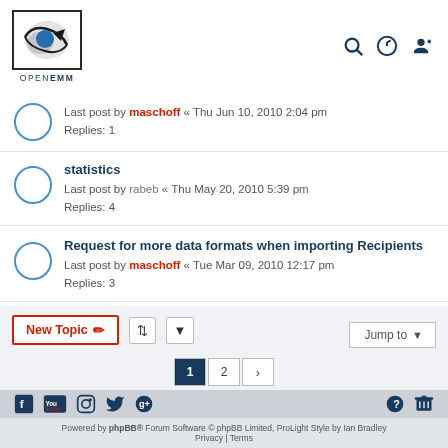[Figure (logo): OpenEMM logo with circular graphic and text OPENEMM below]
Last post by maschoff « Thu Jun 10, 2010 2:04 pm
Replies: 1
statistics
Last post by rabeb « Thu May 20, 2010 5:39 pm
Replies: 4
Request for more data formats when importing Recipients
Last post by maschoff « Tue Mar 09, 2010 12:17 pm
Replies: 3
New Topic | Sort | Page 1 2 > | Jump to
Powered by phpBB® Forum Software © phpBB Limited, ProLight Style by Ian Bradley
Privacy | Terms